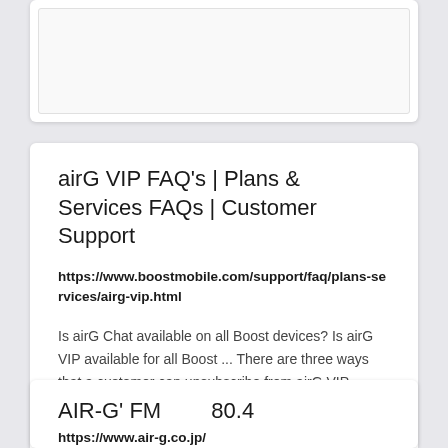[Figure (screenshot): Partial top card showing a white card with an inner bordered content area, cut off at top]
airG VIP FAQ's | Plans & Services FAQs | Customer Support
https://www.boostmobile.com/support/faq/plans-services/airg-vip.html
Is airG Chat available on all Boost devices? Is airG VIP available for all Boost ... There are three ways that a customer can unsubscribe from airG VIP.
AIR-G' FM　　 80.4
https://www.air-g.co.jp/